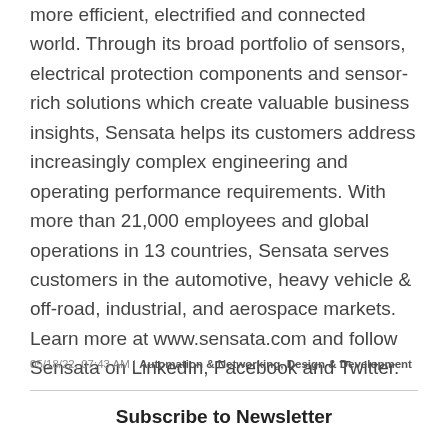more efficient, electrified and connected world. Through its broad portfolio of sensors, electrical protection components and sensor-rich solutions which create valuable business insights, Sensata helps its customers address increasingly complex engineering and operating performance requirements. With more than 21,000 employees and global operations in 13 countries, Sensata serves customers in the automotive, heavy vehicle & off-road, industrial, and aerospace markets. Learn more at www.sensata.com and follow Sensata on LinkedIn, Facebook and Twitter.
05/18/22, 07:43 AM | Automation & Networking, Design & Development
Subscribe to Newsletter